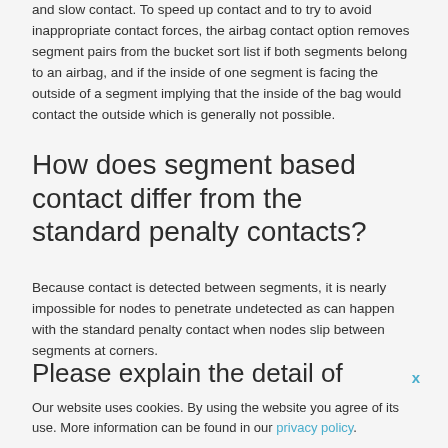and slow contact. To speed up contact and to try to avoid inappropriate contact forces, the airbag contact option removes segment pairs from the bucket sort list if both segments belong to an airbag, and if the inside of one segment is facing the outside of a segment implying that the inside of the bag would contact the outside which is generally not possible.
How does segment based contact differ from the standard penalty contacts?
Because contact is detected between segments, it is nearly impossible for nodes to penetrate undetected as can happen with the standard penalty contact when nodes slip between segments at corners.
Please explain the detail of
Our website uses cookies. By using the website you agree of its use. More information can be found in our privacy policy.